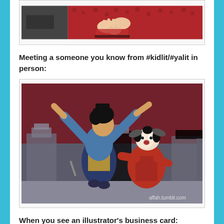[Figure (photo): Partial photo showing hands of a person in a red patterned outfit, cropped at the top of the page]
Meeting a someone you know from #kidlit/#yalit in person:
[Figure (illustration): Animated illustration from Mulan showing two characters embracing/greeting each other with dramatic gestures, dark reddish background with architecture, watermark 'affah.tumblr.com']
When you see an illustrator's business card: